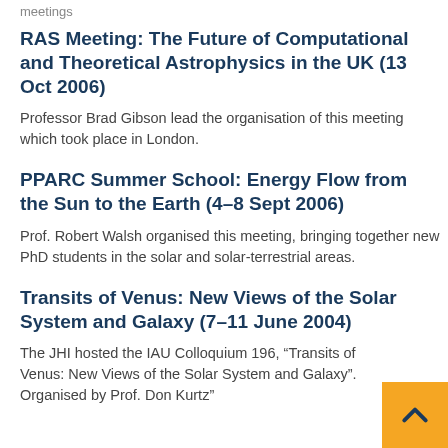meetings
RAS Meeting: The Future of Computational and Theoretical Astrophysics in the UK (13 Oct 2006)
Professor Brad Gibson lead the organisation of this meeting which took place in London.
PPARC Summer School: Energy Flow from the Sun to the Earth (4–8 Sept 2006)
Prof. Robert Walsh organised this meeting, bringing together new PhD students in the solar and solar-terrestrial areas.
Transits of Venus: New Views of the Solar System and Galaxy (7–11 June 2004)
The JHI hosted the IAU Colloquium 196, “Transits of Venus: New Views of the Solar System and Galaxy”. Organised by Prof. Don Kurtz”